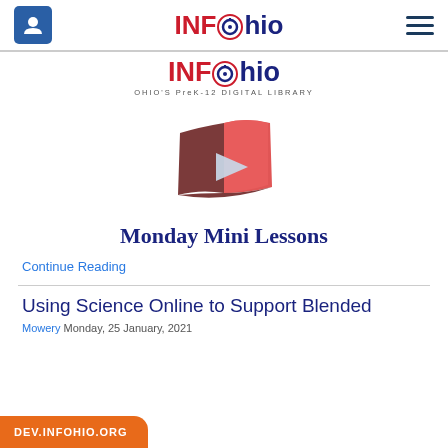INFOhio
[Figure (logo): INFOhio logo with text OHIO'S PreK-12 DIGITAL LIBRARY]
[Figure (illustration): Open book with play button icon - Monday Mini Lessons logo]
Monday Mini Lessons
Continue Reading
Using Science Online to Support Blended
Mowery Monday, 25 January, 2021
DEV.INFOHIO.ORG